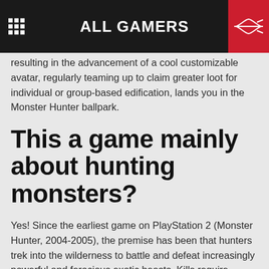ALL GAMERS
resulting in the advancement of a cool customizable avatar, regularly teaming up to claim greater loot for individual or group-based edification, lands you in the Monster Hunter ballpark.
This a game mainly about hunting monsters?
Yes! Since the earliest game on PlayStation 2 (Monster Hunter, 2004-2005), the premise has been that hunters trek into the wilderness to battle and defeat increasingly powerful and ferocious exotic beasts. Kills require planning and preparation; not only appropriate weapons and armor but tactics and life-preserving